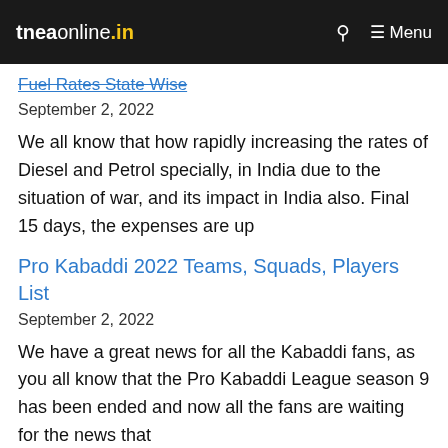tneaonline.in — Menu
Fuel Rates State Wise
September 2, 2022
We all know that how rapidly increasing the rates of Diesel and Petrol specially, in India due to the situation of war, and its impact in India also. Final 15 days, the expenses are up
Pro Kabaddi 2022 Teams, Squads, Players List
September 2, 2022
We have a great news for all the Kabaddi fans, as you all know that the Pro Kabaddi League season 9 has been ended and now all the fans are waiting for the news that